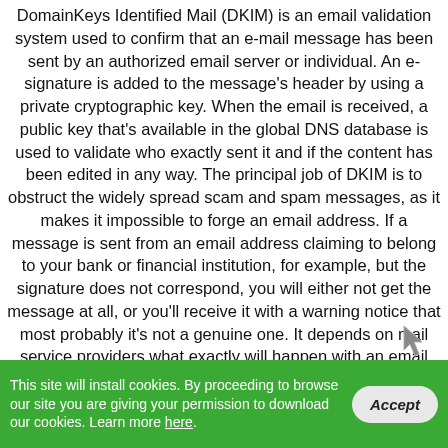DomainKeys Identified Mail (DKIM) is an email validation system used to confirm that an e-mail message has been sent by an authorized email server or individual. An e-signature is added to the message's header by using a private cryptographic key. When the email is received, a public key that's available in the global DNS database is used to validate who exactly sent it and if the content has been edited in any way. The principal job of DKIM is to obstruct the widely spread scam and spam messages, as it makes it impossible to forge an email address. If a message is sent from an email address claiming to belong to your bank or financial institution, for example, but the signature does not correspond, you will either not get the message at all, or you'll receive it with a warning notice that most probably it's not a genuine one. It depends on mail service providers what exactly will happen with an email message which fails to pass the signature examination. DomainKeys Identified Mail will always come accompanied by a...
This site will install cookies. By proceeding to browse our site you are giving your permission to download our cookies. Learn more here.